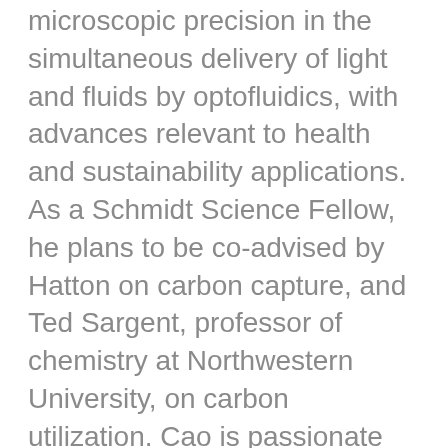microscopic precision in the simultaneous delivery of light and fluids by optofluidics, with advances relevant to health and sustainability applications. As a Schmidt Science Fellow, he plans to be co-advised by Hatton on carbon capture, and Ted Sargent, professor of chemistry at Northwestern University, on carbon utilization. Cao is passionate about integrated carbon capture and utilization (CCU) from molecular to process levels, machine learning to inspire smart CCU, and the nexus of technology, business, and policy for CCU.
“The Schmidt Science Fellowship provides the perfect opportunity for me to work across